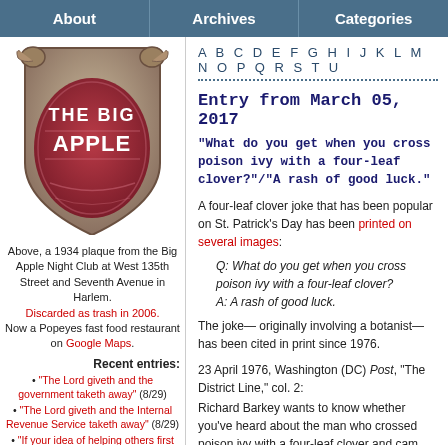About | Archives | Categories
[Figure (photo): A 1934 plaque from the Big Apple Night Club showing 'THE BIG APPLE' text on a shield-shaped ornamental plaque]
Above, a 1934 plaque from the Big Apple Night Club at West 135th Street and Seventh Avenue in Harlem. Discarded as trash in 2006. Now a Popeyes fast food restaurant on Google Maps.
Recent entries:
"The Lord giveth and the government taketh away" (8/29)
"The Lord giveth and the Internal Revenue Service taketh away" (8/29)
"If your idea of helping others first requires taking someone's property…" (8/29)
A B C D E F G H I J K L M N O P Q R S T U
Entry from March 05, 2017
“What do you get when you cross poison ivy with a four-leaf clover?”/“A rash of good luck.”
A four-leaf clover joke that has been popular on St. Patrick's Day has been printed on several images:
Q: What do you get when you cross poison ivy with a four-leaf clover?
A: A rash of good luck.
The joke— originally involving a botanist— has been cited in print since 1976.
23 April 1976, Washington (DC) Post, “The District Line,” col. 2:
Richard Barkey wants to know whether you've heard about the man who crossed poison ivy with a four-leaf clover and cam